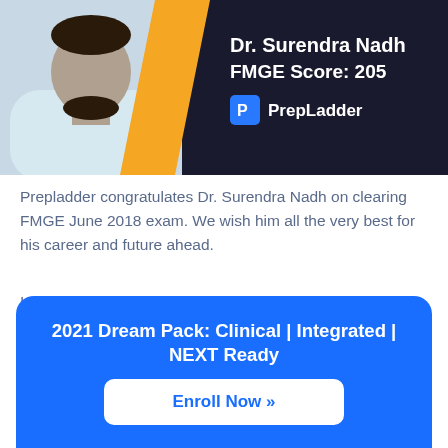[Figure (photo): Banner image showing Dr. Surendra Nadh's photo on a dark background with a yellow diagonal stripe, his name, FMGE Score, and PrepLadder logo]
Prepladder congratulates Dr. Surendra Nadh on clearing FMGE June 2018 exam. We wish him all the very best for his career and future ahead.
In this exclusive interview with PrepLadder, he shares his experience and plan that worked best for him to help score well in FMGE.
2021 Dream Pack: Clinical | Integrated | NEXT Ready
Enroll Now »